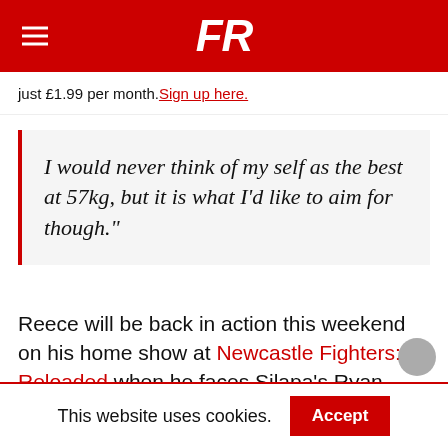FR
just £1.99 per month. Sign up here.
I would never think of my self as the best at 57kg, but it is what I'd like to aim for though."
Reece will be back in action this weekend on his home show at Newcastle Fighters: Reloaded when he faces Silapa's Ryan Odonnell in the co-main event.
Get to know more about Reece Robson in this short interview we did with him earlier this week.
This website uses cookies.